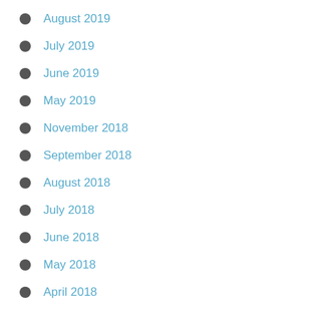August 2019
July 2019
June 2019
May 2019
November 2018
September 2018
August 2018
July 2018
June 2018
May 2018
April 2018
March 2018